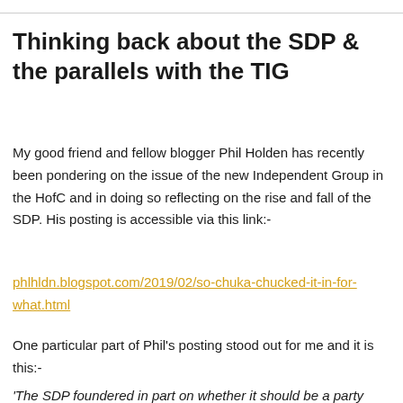Thinking back about the SDP & the parallels with the TIG
My good friend and fellow blogger Phil Holden has recently been pondering on the issue of the new Independent Group in the HofC and in doing so reflecting on the rise and fall of the SDP. His posting is accessible via this link:-
phlhldn.blogspot.com/2019/02/so-chuka-chucked-it-in-for-what.html
One particular part of Phil's posting stood out for me and it is this:-
'The SDP foundered in part on whether it should be a party